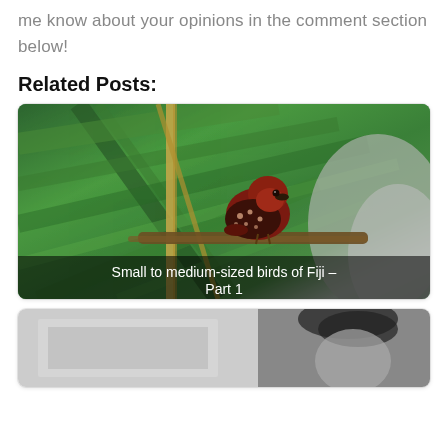me know about your opinions in the comment section below!
Related Posts:
[Figure (photo): A small red and dark brown spotted bird perched on a branch, surrounded by green tropical palm leaves. Overlay text reads 'Small to medium-sized birds of Fiji – Part 1'.]
Small to medium-sized birds of Fiji – Part 1
[Figure (photo): A black and white photo showing partial view of a person's head/face on the right and what appears to be a grey background on the left.]